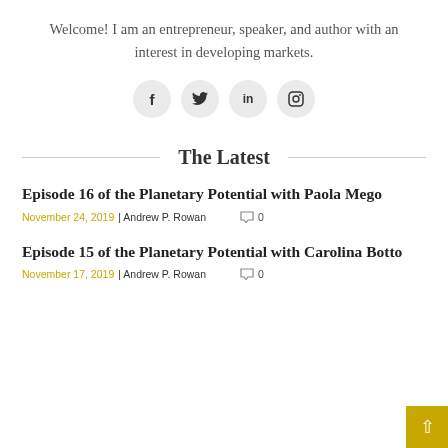Welcome! I am an entrepreneur, speaker, and author with an interest in developing markets.
[Figure (infographic): Four circular social media icon buttons: Facebook (f), Twitter (bird), LinkedIn (in), Instagram (camera)]
The Latest
Episode 16 of the Planetary Potential with Paola Mego
November 24, 2019| Andrew P. Rowan  ☁ 0
Episode 15 of the Planetary Potential with Carolina Botto
November 17, 2019| Andrew P. Rowan  ☁ 0